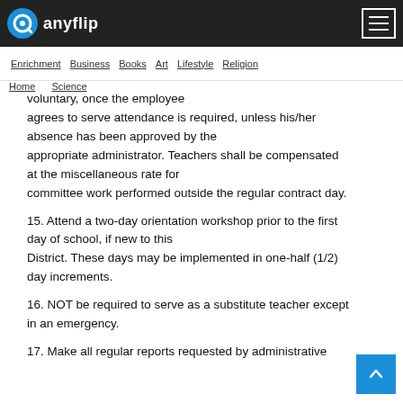anyflip
Enrichment  Business  Books  Art  Lifestyle  Religion
Home  Science
voluntary, once the employee agrees to serve attendance is required, unless his/her absence has been approved by the appropriate administrator. Teachers shall be compensated at the miscellaneous rate for committee work performed outside the regular contract day.
15. Attend a two-day orientation workshop prior to the first day of school, if new to this District. These days may be implemented in one-half (1/2) day increments.
16. NOT be required to serve as a substitute teacher except in an emergency.
17. Make all regular reports requested by administrative